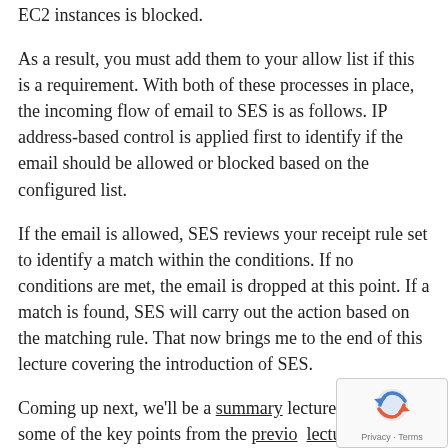EC2 instances is blocked.
As a result, you must add them to your allow list if this is a requirement. With both of these processes in place, the incoming flow of email to SES is as follows. IP address-based control is applied first to identify if the email should be allowed or blocked based on the configured list.
If the email is allowed, SES reviews your receipt rule set to identify a match within the conditions. If no conditions are met, the email is dropped at this point. If a match is found, SES will carry out the action based on the matching rule. That now brings me to the end of this lecture covering the introduction of SES.
Coming up next, we'll be a summary lecture covering some of the key points from the previous lectures.